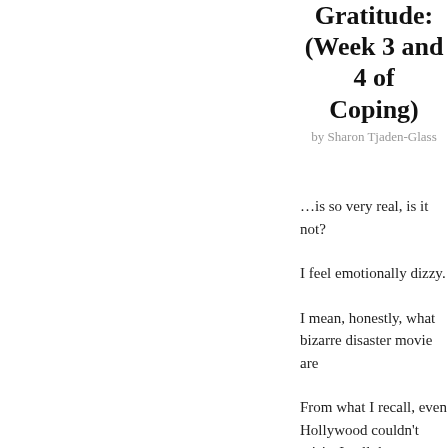Gratitude: (Week 3 and 4 of Coping)
by Sharon Tjaden-Glass
…is so very real, is it not?
I feel emotionally dizzy.
I mean, honestly, what bizarre disaster movie are
From what I recall, even Hollywood couldn't crisis. In all the apocalyptic movies that I ca Armageddon, 2012, The Day After Tomorrow, fictionalized president of the United States calmness and wisdom that the balanced the pub
We don't have the opposite of a calm and wise le
What we have is actually much worse.